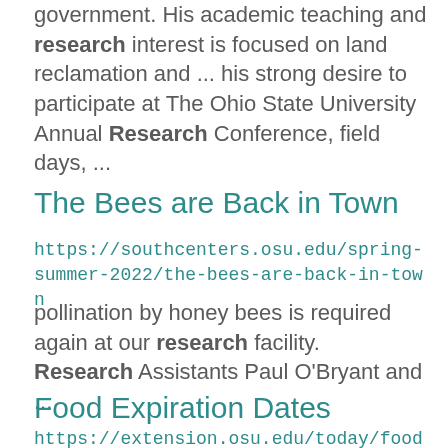government. His academic teaching and research interest is focused on land reclamation and ... his strong desire to participate at The Ohio State University Annual Research Conference, field days, ...
The Bees are Back in Town
https://southcenters.osu.edu/spring-summer-2022/the-bees-are-back-in-town
pollination by honey bees is required again at our research facility.  Research Assistants Paul O'Bryant and ...
Food Expiration Dates
https://extension.osu.edu/today/food-expiration-